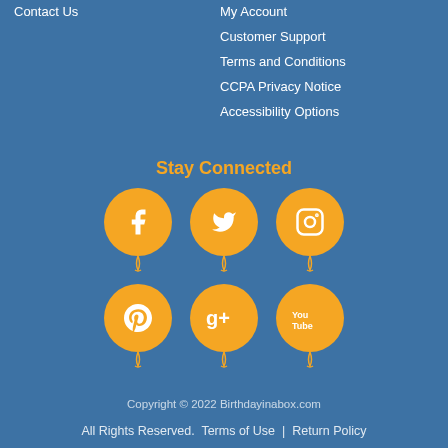Contact Us
My Account
Customer Support
Terms and Conditions
CCPA Privacy Notice
Accessibility Options
Stay Connected
[Figure (illustration): Six orange balloon-shaped social media icons in two rows of three: Facebook, Twitter, Instagram (top row); Pinterest, Google+, YouTube (bottom row)]
Copyright © 2022 Birthdayinabox.com
All Rights Reserved.  Terms of Use  |  Return Policy